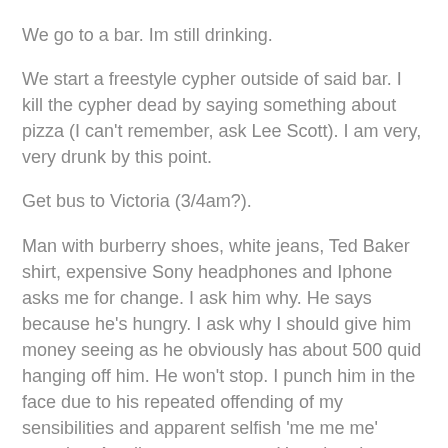We go to a bar. Im still drinking.
We start a freestyle cypher outside of said bar. I kill the cypher dead by saying something about pizza (I can't remember, ask Lee Scott). I am very, very drunk by this point.
Get bus to Victoria (3/4am?).
Man with burberry shoes, white jeans, Ted Baker shirt, expensive Sony headphones and Iphone asks me for change. I ask him why. He says because he's hungry. I ask why I should give him money seeing as he obviously has about 500 quid hanging off him. He won't stop. I punch him in the face due to his repeated offending of my sensibilities and apparent selfish 'me me me' complex. A policeman appears. He asks what happened and why. I tell him. The policeman laughs and lets me go. The rich beggar apologises and tells me I've taught him a valuable lesson. I tell him to fuck himself (Stella).